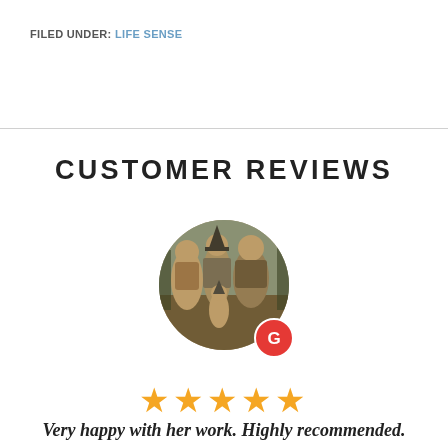FILED UNDER: LIFE SENSE
CUSTOMER REVIEWS
[Figure (photo): Circular avatar showing a vintage black and white photo of a group of people in costume, with a red Google 'G' badge overlay in the bottom right]
★★★★★
Very happy with her work. Highly recommended.